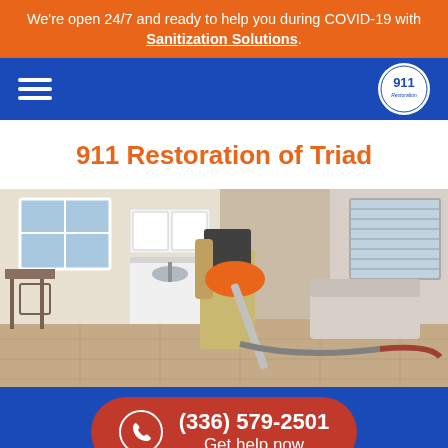We're open 24/7 and ready to help you during COVID-19 with Sanitization Solutions.
[Figure (screenshot): Blue navigation bar with hamburger menu on left and 911 Restoration circular logo on right]
911 Restoration of Triad
[Figure (photo): A technician in khaki pants using an orange carpet cleaning/restoration machine in a home interior with white kitchen cabinets and windows visible in background]
(336) 579-2501 Get help now